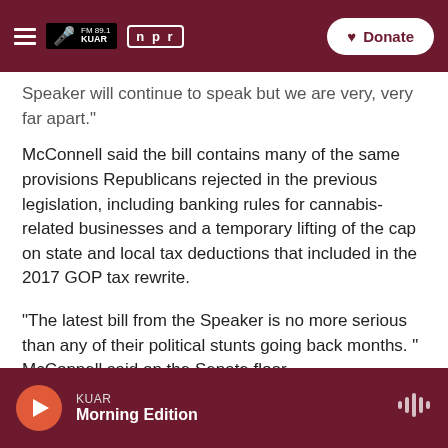FM 89.1 KUAR | NPR | Donate
Speaker will continue to speak but we are very, very far apart."
McConnell said the bill contains many of the same provisions Republicans rejected in the previous legislation, including banking rules for cannabis-related businesses and a temporary lifting of the cap on state and local tax deductions that included in the 2017 GOP tax rewrite.
"The latest bill from the Speaker is no more serious than any of their political stunts going back months. " McConnell said on the Senate floor.
KUAR Morning Edition